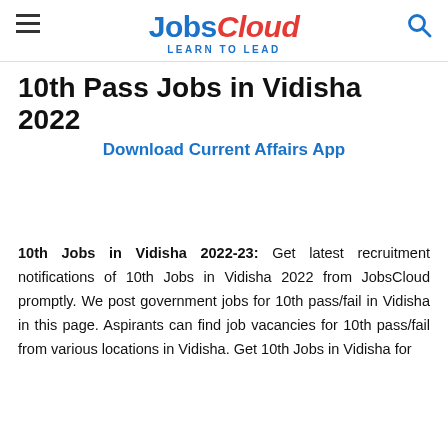JobsCloud LEARN TO LEAD
10th Pass Jobs in Vidisha 2022
Download Current Affairs App
10th Jobs in Vidisha 2022-23: Get latest recruitment notifications of 10th Jobs in Vidisha 2022 from JobsCloud promptly. We post government jobs for 10th pass/fail in Vidisha in this page. Aspirants can find job vacancies for 10th pass/fail from various locations in Vidisha. Get 10th Jobs in Vidisha for